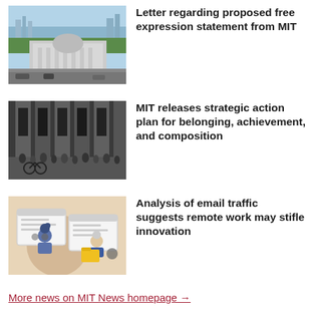[Figure (photo): Aerial view of MIT campus buildings with river and city skyline in background]
Letter regarding proposed free expression statement from MIT
[Figure (photo): People gathered in front of large classical columns of MIT building]
MIT releases strategic action plan for belonging, achievement, and composition
[Figure (illustration): Illustration of two people working remotely with computer screens and email icons]
Analysis of email traffic suggests remote work may stifle innovation
More news on MIT News homepage →